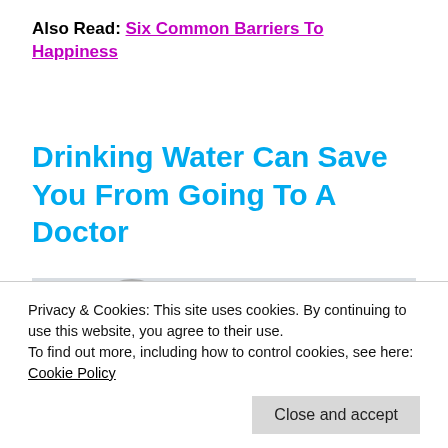Also Read: Six Common Barriers To Happiness
Drinking Water Can Save You From Going To A Doctor
[Figure (photo): A blood pressure monitor / sphygmomanometer with stethoscope on a white background]
Privacy & Cookies: This site uses cookies. By continuing to use this website, you agree to their use.
To find out more, including how to control cookies, see here: Cookie Policy